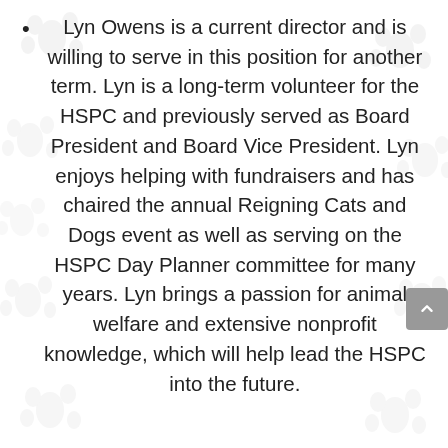Lyn Owens is a current director and is willing to serve in this position for another term. Lyn is a long-term volunteer for the HSPC and previously served as Board President and Board Vice President. Lyn enjoys helping with fundraisers and has chaired the annual Reigning Cats and Dogs event as well as serving on the HSPC Day Planner committee for many years. Lyn brings a passion for animal welfare and extensive nonprofit knowledge, which will help lead the HSPC into the future.